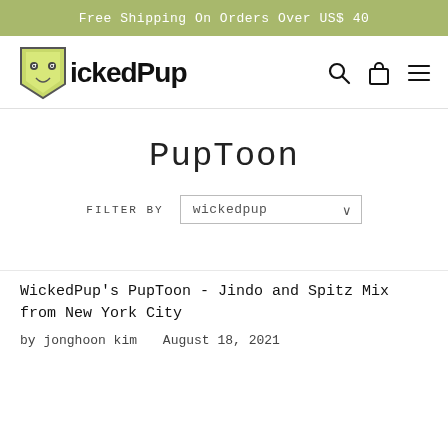Free Shipping On Orders Over US$ 40
[Figure (logo): WickedPup logo with cartoon dog face icon and text 'WickedPup']
PupToon
FILTER BY wickedpup
WickedPup's PupToon - Jindo and Spitz Mix from New York City
by jonghoon kim  August 18, 2021